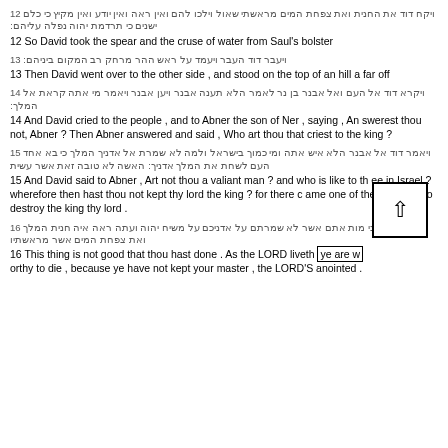12 [Hebrew text] 12 So David took the spear and the cruse of water from Saul's bolster
13 [Hebrew text] 13 Then David went over to the other side , and stood on the top of an hill a far off
14 [Hebrew text] 14 And David cried to the people , and to Abner the son of Ner , saying , Answerest thou not, Abner ? Then Abner answered and said , Who art thou that criest to the king ?
15 [Hebrew text] 15 And David said to Abner , Art not thou a valiant man ? and who is like to thee in Israel ? wherefore then hast thou not kept thy lord the king ? for there came one of the people in to destroy the king thy lord .
16 [Hebrew text] 16 This thing is not good that thou hast done . As the LORD liveth ye are worthy to die , because ye have not kept your master , the LORD'S anointed .